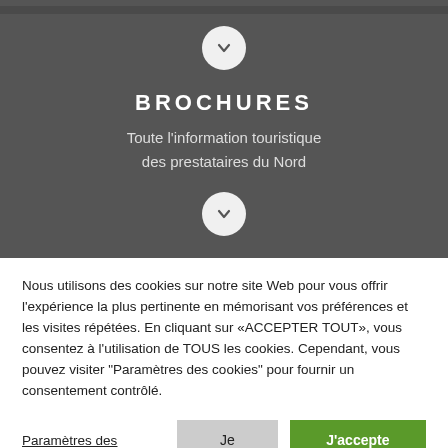[Figure (screenshot): Partial logo/header visible at top]
BROCHURES
Toute l'information touristique des prestataires du Nord
Nous utilisons des cookies sur notre site Web pour vous offrir l'expérience la plus pertinente en mémorisant vos préférences et les visites répétées. En cliquant sur «ACCEPTER TOUT», vous consentez à l'utilisation de TOUS les cookies. Cependant, vous pouvez visiter "Paramètres des cookies" pour fournir un consentement contrôlé.
Paramètres des cookies | Je refuse | J'accepte tout